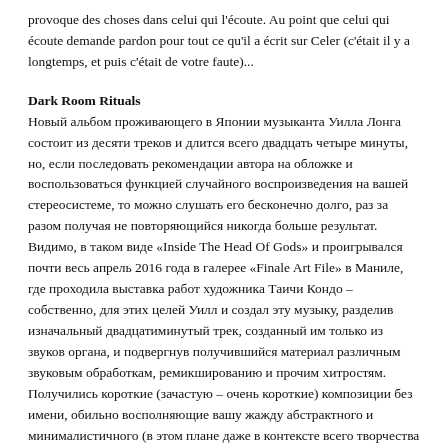provoque des choses dans celui qui l'écoute. Au point que celui qui écoute demande pardon pour tout ce qu'il a écrit sur Celer (c'était il y a longtemps, et puis c'était de votre faute)...
Dark Room Rituals
Новый альбом проживающего в Японии музыканта Уилла Лонга состоит из десяти треков и длится всего двадцать четыре минуты, но, если последовать рекомендации автора на обложке и воспользоваться функцией случайного воспроизведения на вашей стереосистеме, то можно слушать его бесконечно долго, раз за разом получая не повторяющийся никогда больше результат. Видимо, в таком виде «Inside The Head Of Gods» и проигрывался почти весь апрель 2016 года в галерее «Finale Art File» в Маниле, где проходила выставка работ художника Таичи Кондо – собственно, для этих целей Уилл и создал эту музыку, разделив изначальный двадцатиминутый трек, созданный им только из звуков органа, и подвергнув получившийся материал различным звуковым обработкам, ремикшированию и прочим хитростям. Получились короткие (зачастую – очень короткие) композиции без имени, обильно восполняющие вашу жажду абстрактного и минималистичного (в этом плане даже в контексте всего творчества «Celer» он является эталоном минимализма) эмбиента, обильно перемежающегося тишиной, которой порой отводится, кажется, гораздо более важная роль, чем непосредственно музыке. По отдельности эти атмосферные, бессюжетные отрезки не представляют особой ценности, но вместе они работают замечательно, создавая тихое, уютное пространство, где разворачиваются (пусть только в воображении) инсталляции эмоций и выставки ментальных картин, нарисованных по мотивам ваших снов. Признаться, я давно не